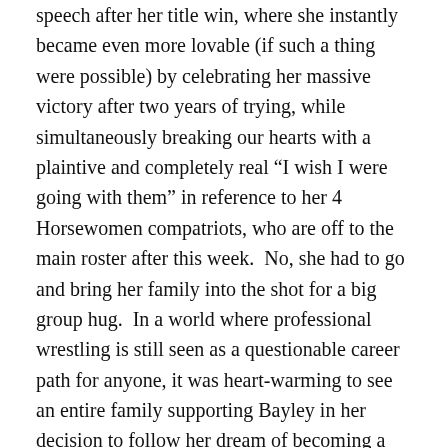speech after her title win, where she instantly became even more lovable (if such a thing were possible) by celebrating her massive victory after two years of trying, while simultaneously breaking our hearts with a plaintive and completely real “I wish I were going with them” in reference to her 4 Horsewomen compatriots, who are off to the main roster after this week.  No, she had to go and bring her family into the shot for a big group hug.  In a world where professional wrestling is still seen as a questionable career path for anyone, it was heart-warming to see an entire family supporting Bayley in her decision to follow her dream of becoming a wrestler.
3. Jushin “Thunder” Liger Will Return
While he didn’t appear on last night’s show, Liger was